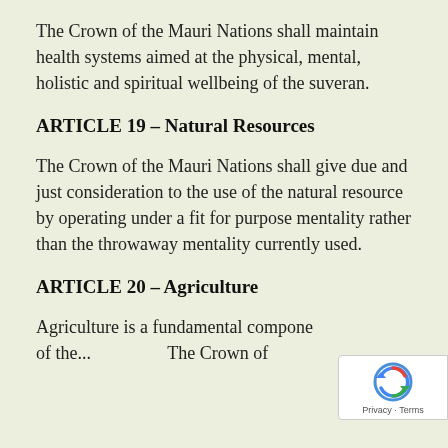The Crown of the Mauri Nations shall maintain health systems aimed at the physical, mental, holistic and spiritual wellbeing of the suveran.
ARTICLE 19 – Natural Resources
The Crown of the Mauri Nations shall give due and just consideration to the use of the natural resource by operating under a fit for purpose mentality rather than the throwaway mentality currently used.
ARTICLE 20 – Agriculture
Agriculture is a fundamental compone... of the...  The Crown of...